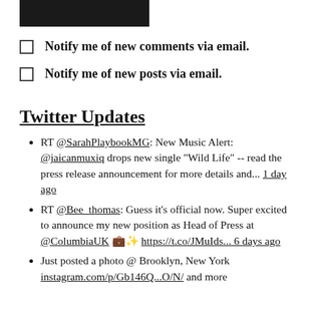[Figure (other): Black filled rectangle button at top of page]
Notify me of new comments via email.
Notify me of new posts via email.
Twitter Updates
RT @SarahPlaybookMG: New Music Alert: @jaicanmuxiq drops new single "Wild Life" -- read the press release announcement for more details and... 1 day ago
RT @Bee_thomas: Guess it's official now. Super excited to announce my new position as Head of Press at @ColumbiaUK 💼✨ https://t.co/JMuIds... 6 days ago
Just posted a photo @ Brooklyn, New York instagram.com/p/Gb1469...O/N/ and more